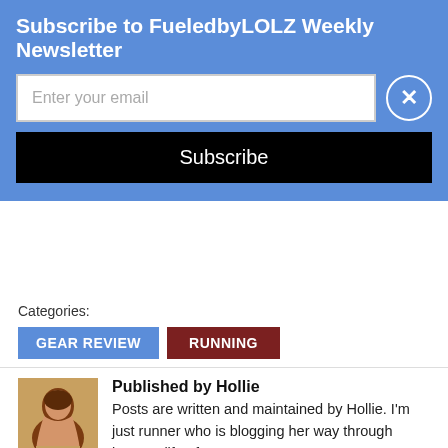Subscribe to FueledbyLOLZ Weekly Newsletter
Enter your email
Subscribe
Categories:
GEAR REVIEW
RUNNING
Published by Hollie
Posts are written and maintained by Hollie. I'm just runner who is blogging her way through internet life. If you see me in the real world, you might be dreaming. If you have any questions or concerns, please don't hesitate to email me at fueledbyLOLZ@gmail.com View all posts by Hollie
Tags: fitness, gear review, recovery, run, running
SHARE THIS:
Email  Print  Facebook  Twitter